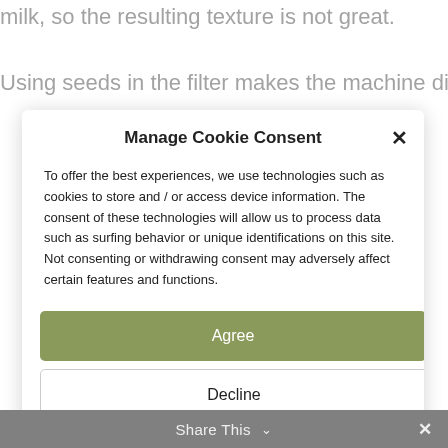milk, so the resulting texture is not great.
Using seeds in the filter makes the machine difficult to
Manage Cookie Consent
To offer the best experiences, we use technologies such as cookies to store and / or access device information. The consent of these technologies will allow us to process data such as surfing behavior or unique identifications on this site. Not consenting or withdrawing consent may adversely affect certain features and functions.
Agree
Decline
View preferences
Share This ∨  ×